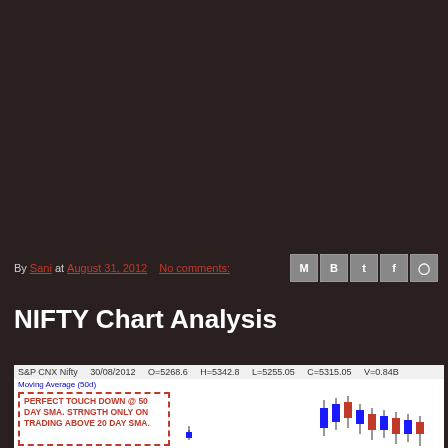By Sani at August 31, 2012   No comments:
NIFTY Chart Analysis
[Figure (other): S&P CNX Nifty candlestick chart dated 30/08/2012, O=5268.6, H=5342.8, L=5255.05, C=5315.05, V=0.84B, Moving Average (50d). Annotation box with red dashed border reads: PERFECT TOUCH DOWN @ 50 DAY SMA. STRNGTH ONLY ON TRADING ABOVE 20 DAY SMA. Candlestick bars in blue and red visible on right side.]